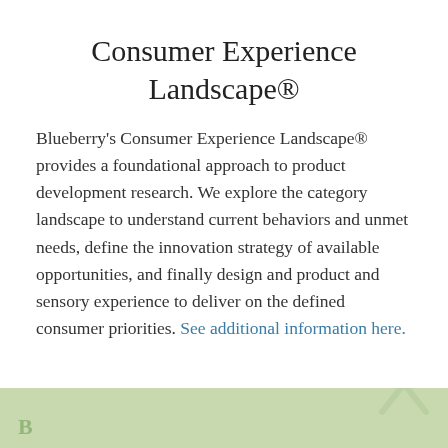Consumer Experience Landscape®
Blueberry's Consumer Experience Landscape® provides a foundational approach to product development research. We explore the category landscape to understand current behaviors and unmet needs, define the innovation strategy of available opportunities, and finally design and product and sensory experience to deliver on the defined consumer priorities. See additional information here.